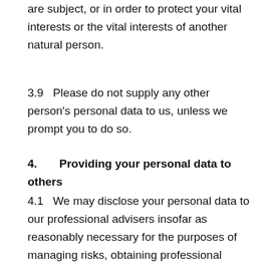are subject, or in order to protect your vital interests or the vital interests of another natural person.
3.9   Please do not supply any other person's personal data to us, unless we prompt you to do so.
4.      Providing your personal data to others
4.1   We may disclose your personal data to our professional advisers insofar as reasonably necessary for the purposes of managing risks, obtaining professional advice, or the